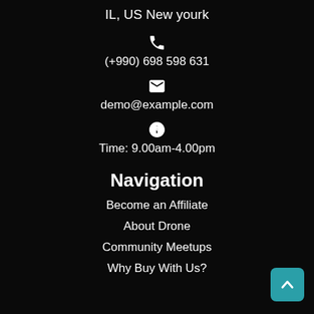IL, US New yourk
[Figure (illustration): Phone icon]
(+990) 698 598 631
[Figure (illustration): Envelope/email icon]
demo@example.com
[Figure (illustration): Clock icon]
Time: 9.00am-4.00pm
Navigation
Become an Affiliate
About Drone
Community Meetups
Why Buy With Us?
[Figure (illustration): Back to top arrow button (teal/cyan rounded square)]